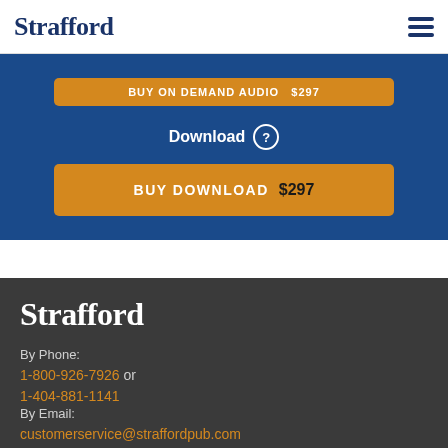Strafford
[Figure (screenshot): Blue promotional section with partially cropped orange button at top reading 'BUY ON DEMAND AUDIO $297', a Download label with help icon, and an orange 'BUY DOWNLOAD $297' button]
Strafford
By Phone:
1-800-926-7926 or
1-404-881-1141
By Email:
customerservice@straffordpub.com